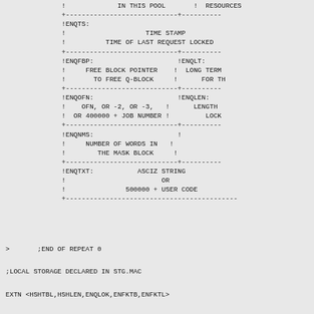[Figure (schematic): ASCII diagram showing memory/data structure layout with fields: IN THIS POOL/RESOURCES, ENQTS (TIME STAMP/TIME OF LAST REQUEST LOCKED), ENQFBP/ENQLT (FREE BLOCK POINTER TO FREE Q-BLOCK / LONG TERM FOR TH...), ENQOFN/ENQLEN (OFN OR -2 OR -3 OR 400000+JOB NUMBER / LENGTH LOCK), ENQNMS (NUMBER OF WORDS IN THE MASK BLOCK), ENQTXT (ASCIZ STRING OR 500000+USER CODE)]
>       ;END OF REPEAT 0
;LOCAL STORAGE DECLARED IN STG.MAC
EXTN <HSHTBL,HSHLEN,ENQLOK,ENFKTB,ENFKTL>